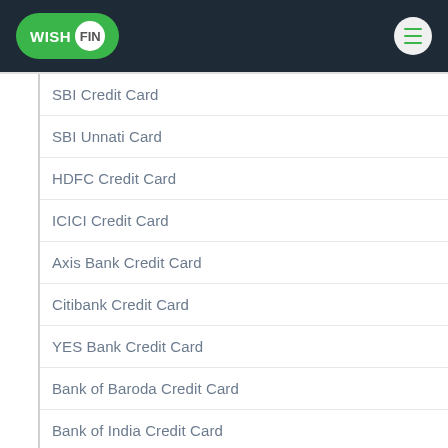WISH FIN
SBI Credit Card
SBI Unnati Card
HDFC Credit Card
ICICI Credit Card
Axis Bank Credit Card
Citibank Credit Card
YES Bank Credit Card
Bank of Baroda Credit Card
Bank of India Credit Card
HSBC Credit Card
IDBI Bank Credit Card
IndusInd Bank Credit Card